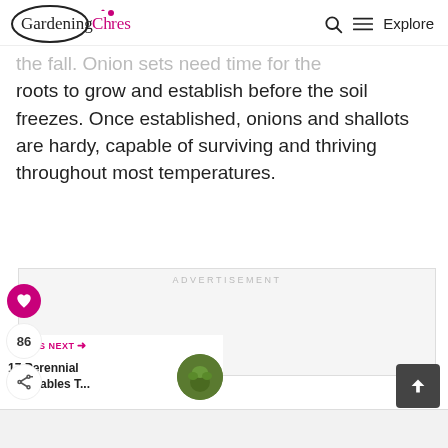Gardening Chores | Q Explore
the fall. Onion sets need time for the roots to grow and establish before the soil freezes. Once established, onions and shallots are hardy, capable of surviving and thriving throughout most temperatures.
[Figure (other): Advertisement placeholder box with ADVERTISEMENT label]
86
WHAT'S NEXT → 17 Perennial Vegetables T...